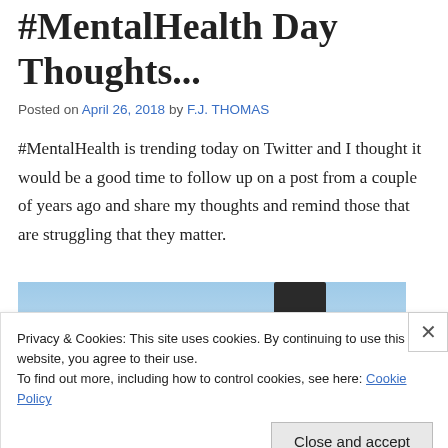#MentalHealth Day Thoughts...
Posted on April 26, 2018 by F.J. THOMAS
#MentalHealth is trending today on Twitter and I thought it would be a good time to follow up on a post from a couple of years ago and share my thoughts and remind those that are struggling that they matter.
[Figure (photo): Sky with clouds and a silhouette of a person standing]
Privacy & Cookies: This site uses cookies. By continuing to use this website, you agree to their use.
To find out more, including how to control cookies, see here: Cookie Policy
Close and accept